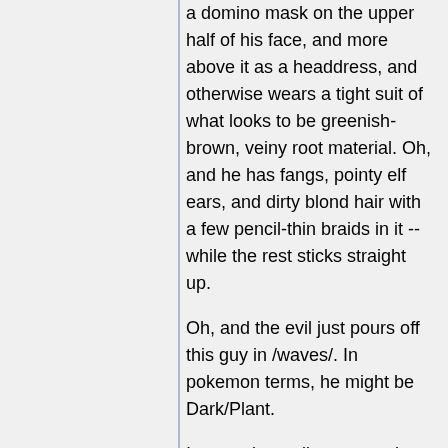a domino mask on the upper half of his face, and more above it as a headdress, and otherwise wears a tight suit of what looks to be greenish-brown, veiny root material. Oh, and he has fangs, pointy elf ears, and dirty blond hair with a few pencil-thin braids in it -- while the rest sticks straight up.
Oh, and the evil just pours off this guy in /waves/. In pokemon terms, he might be Dark/Plant.
In more immediate terms, he floats above the crowds and heads straight for the Tigers side, where reside Mai Mishou and Saki Hyuuga. "I am Karehaan," he announces to the room as a whole, because he likes people to know his name. Then he gets more specific, and a lot more serious. Behind his mask, his